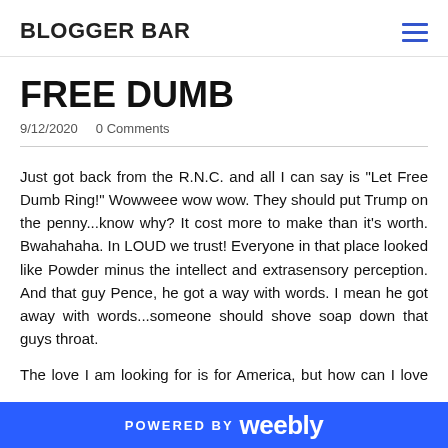BLOGGER BAR
FREE DUMB
9/12/2020   0 Comments
Just got back from the R.N.C. and all I can say is "Let Free Dumb Ring!" Wowweee wow wow. They should put Trump on the penny...know why? It cost more to make than it's worth. Bwahahaha. In LOUD we trust! Everyone in that place looked like Powder minus the intellect and extrasensory perception. And that guy Pence, he got a way with words. I mean he got away with words...someone should shove soap down that guys throat.

The love I am looking for is for America, but how can I love my...
POWERED BY weebly